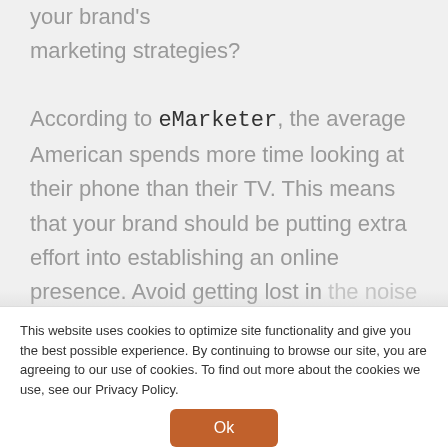your brand's marketing strategies? According to eMarketer, the average American spends more time looking at their phone than their TV. This means that your brand should be putting extra effort into establishing an online presence. Avoid getting lost in the noise of competition and...
This website uses cookies to optimize site functionality and give you the best possible experience. By continuing to browse our site, you are agreeing to our use of cookies. To find out more about the cookies we use, see our Privacy Policy.